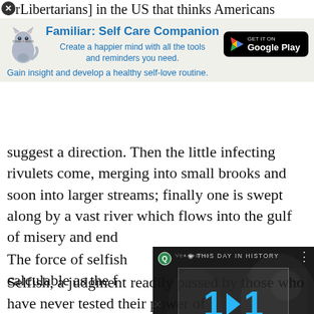rLibertarians] in the US that thinks Americans
[Figure (screenshot): App advertisement banner for 'Familiar: Self Care Companion' with cat icon and Google Play button]
suggest a direction. Then the little infecting rivulets come, merging into small brooks and soon into larger streams; finally one is swept along by a vast river which flows into the gulf of misery and end
[Figure (screenshot): Video player overlay showing 'This Day In History' with date August 11, muted, progress bar shown]
The force of selfish calculable as the f
Selfish, a judgment readily passed by those who have never tested their power of